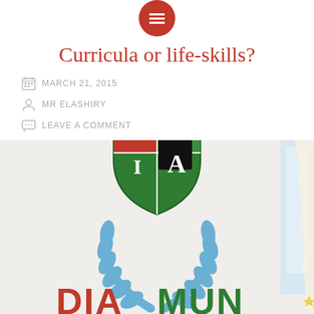[Figure (logo): Red circular menu/hamburger icon at the top center of the page]
Curricula or life-skills?
MARCH 21, 2015
MR ELASHIRY
LEAVE A COMMENT
[Figure (photo): Photo of a DIAMUN (DIA Model United Nations) banner/poster on a wall, showing the DIA shield logo with green, red, and black quadrants with letters D, I, A, and blue UN laurel wreath branches, with DIAMUN text in red and green at the bottom]